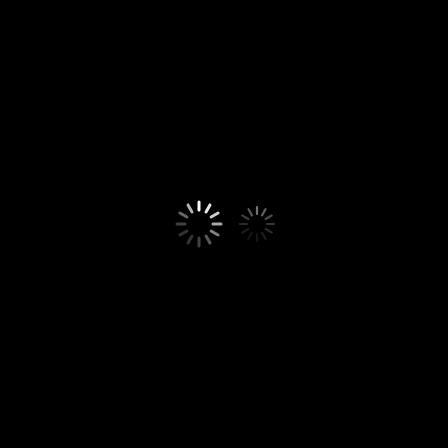[Figure (other): Two loading spinner icons on a black background. Left spinner is brighter white, right spinner is dimmer gray. Both show circular arrangements of short radial lines (spokes) suggesting a loading/processing animation. Centered slightly left of middle of the page.]